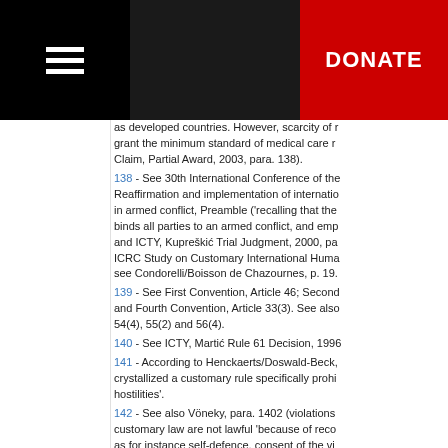DONATE
as developed countries. However, scarcity of resources does not grant the minimum standard of medical care required... Claim, Partial Award, 2003, para. 138).
138 - See 30th International Conference of the... Reaffirmation and implementation of international humanitarian law in armed conflict, Preamble ('recalling that the... binds all parties to an armed conflict, and emp... and ICTY, Kupreškić Trial Judgment, 2000, pa... ICRC Study on Customary International Huma... see Condorelli/Boisson de Chazournes, p. 19...
139 - See First Convention, Article 46; Second... and Fourth Convention, Article 33(3). See also... 54(4), 55(2) and 56(4).
140 - See ICTY, Martić Rule 61 Decision, 1996...
141 - According to Henckaerts/Doswald-Beck,... crystallized a customary rule specifically prohi... hostilities'.
142 - See also Vöneky, para. 1402 (violations... customary law are not lawful 'because of reco... as for instance self-defence, consent of the vi...